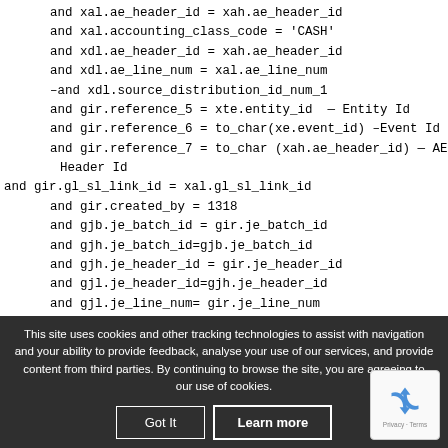and xal.ae_header_id = xah.ae_header_id
and xal.accounting_class_code = 'CASH'
and xdl.ae_header_id = xah.ae_header_id
and xdl.ae_line_num = xal.ae_line_num
–and xdl.source_distribution_id_num_1
and gir.reference_5 = xte.entity_id  — Entity Id
and gir.reference_6 = to_char(xe.event_id) –Event Id
and gir.reference_7 = to_char (xah.ae_header_id) — AE Header Id
and gir.gl_sl_link_id = xal.gl_sl_link_id
and gir.created_by = 1318
and gjb.je_batch_id = gir.je_batch_id
and gjh.je_batch_id=gjb.je_batch_id
and gjh.je_header_id = gir.je_header_id
and gjl.je_header_id=gjh.je_header_id
and gjl.je_line_num= gir.je_line_num
This site uses cookies and other tracking technologies to assist with navigation and your ability to provide feedback, analyse your use of our services, and provide content from third parties. By continuing to browse the site, you are agreeing to our use of cookies.
Got It  Learn more